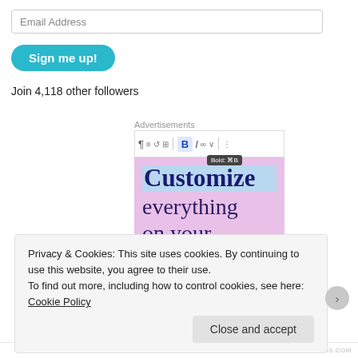Email Address
Sign me up!
Join 4,118 other followers
Advertisements
[Figure (screenshot): WordPress editor advertisement showing a toolbar with Bold (B) button highlighted with tooltip 'Bold: Ctrl+B', and pink background with text 'Customize everything on your site with the new']
Privacy & Cookies: This site uses cookies. By continuing to use this website, you agree to their use.
To find out more, including how to control cookies, see here: Cookie Policy
Close and accept